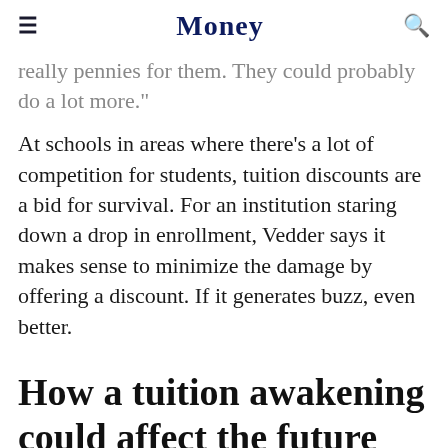Money
really pennies for them. They could probably do a lot more."
At schools in areas where there's a lot of competition for students, tuition discounts are a bid for survival. For an institution staring down a drop in enrollment, Vedder says it makes sense to minimize the damage by offering a discount. If it generates buzz, even better.
How a tuition awakening could affect the future